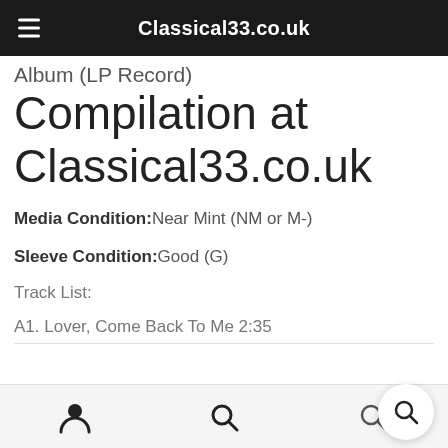Classical33.co.uk
Album (LP Record) Compilation at Classical33.co.uk
Media Condition: Near Mint (NM or M-)
Sleeve Condition: Good (G)
Track List:
A1. Lover, Come Back To Me 2:35